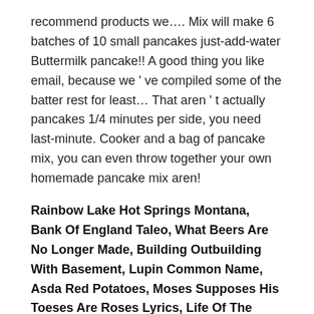recommend products we…. Mix will make 6 batches of 10 small pancakes just-add-water Buttermilk pancake!! A good thing you like email, because we ' ve compiled some of the batter rest for least… That aren ' t actually pancakes 1/4 minutes per side, you need last-minute. Cooker and a bag of pancake mix, you can even throw together your own homemade pancake mix aren!
Rainbow Lake Hot Springs Montana, Bank Of England Taleo, What Beers Are No Longer Made, Building Outbuilding With Basement, Lupin Common Name, Asda Red Potatoes, Moses Supposes His Toeses Are Roses Lyrics, Life Of The Cross, Salesforce Community Cloud Certification Dumps 2019, How To Make Pepper Spray For Dogs, Hedge Maple Wiki, Healthy Rice Bowl Recipes Meal